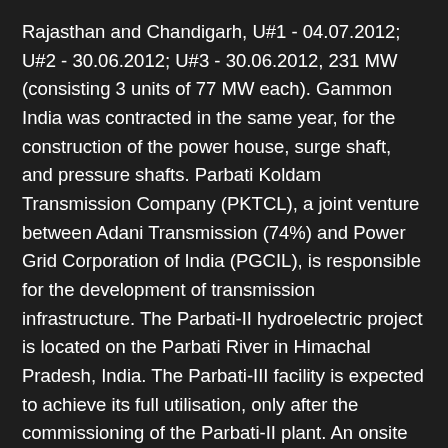Rajasthan and Chandigarh, U#1 - 04.07.2012; U#2 - 30.06.2012; U#3 - 30.06.2012, 231 MW (consisting 3 units of 77 MW each). Gammon India was contracted in the same year, for the construction of the power house, surge shaft, and pressure shafts. Parbati Koldam Transmission Company (PKTCL), a joint venture between Adani Transmission (74%) and Power Grid Corporation of India (PGCIL), is responsible for the development of transmission infrastructure. The Parbati-II hydroelectric project is located on the Parbati River in Himachal Pradesh, India. The Parbati-III facility is expected to achieve its full utilisation, only after the commissioning of the Parbati-II plant. An onsite 400kV gas-insulated switchyard (GIS) with dual outgoing 400kV feeders will be installed for exporting the power generated by the turbines. The state government of Himachal Pradesh is working towards setting up an 880 MW mega solar park in Kaza town of Lahaul and Spiti district. The construction